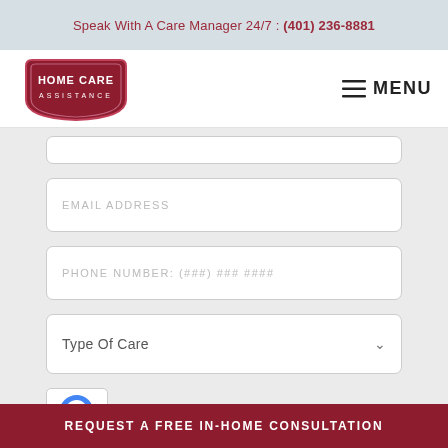Speak With A Care Manager 24/7 : (401) 236-8881
[Figure (logo): Home Care Assistance logo — dark red shield/badge shape with text HOME CARE ASSISTANCE]
≡ MENU
EMAIL ADDRESS
PHONE NUMBER: (###) ### ####
Type Of Care
[Figure (other): reCAPTCHA widget partially visible]
REQUEST A FREE IN-HOME CONSULTATION